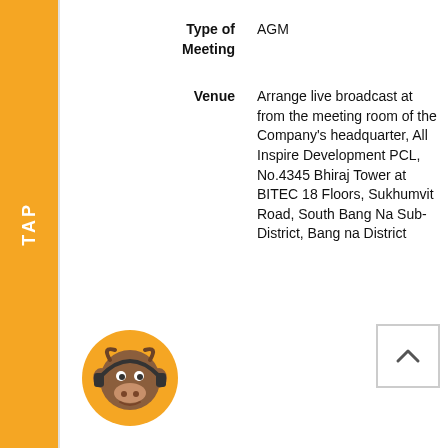Type of Meeting
AGM
Venue
Arrange live broadcast at from the meeting room of the Company's headquarter, All Inspire Development PCL, No.4345 Bhiraj Tower at BITEC 18 Floors, Sukhumvit Road, South Bang Na Sub-District, Bang na District
[Figure (illustration): Orange bull mascot with headphones icon in circular orange frame]
[Figure (other): Scroll to top button with upward chevron arrow]